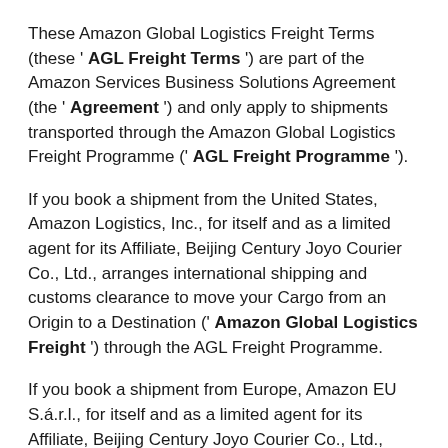These Amazon Global Logistics Freight Terms (these ' AGL Freight Terms ') are part of the Amazon Services Business Solutions Agreement (the ' Agreement ') and only apply to shipments transported through the Amazon Global Logistics Freight Programme (' AGL Freight Programme ').
If you book a shipment from the United States, Amazon Logistics, Inc., for itself and as a limited agent for its Affiliate, Beijing Century Joyo Courier Co., Ltd., arranges international shipping and customs clearance to move your Cargo from an Origin to a Destination (' Amazon Global Logistics Freight ') through the AGL Freight Programme.
If you book a shipment from Europe, Amazon EU S.á.r.l., for itself and as a limited agent for its Affiliate, Beijing Century Joyo Courier Co., Ltd., provides Amazon Global Logistics Freight through the AGL Freight Programme.
BY USING THE AGL FREIGHT PROGRAMME, YOU (ON YOUR BEHALF OR FOR THE BUSINESS YOU REPRESENT) ACCEPT THE